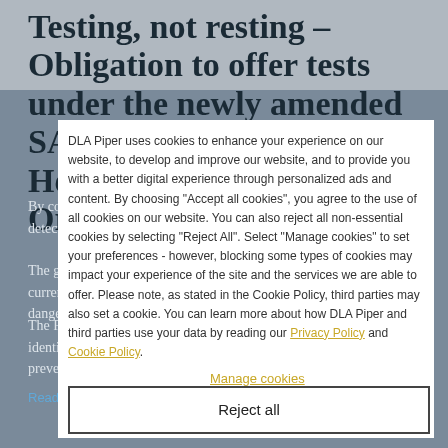Testing, not resting – Obligation to offer tests under the newly amended SARS-CoV-2 Occupational Health and Safety Ordinance
By combining frequent and repeated testing, Covid-19 infections can be detected ...
The global effort to contain the spread of the SARS-CoV-2 virus is currently impaired by the emergence and propagation of more dangerous virus variants.
The Federal Ministry of Labor and Social Affairs (Ministry) has identified frequent testing in occupational environments as a means to prevent the spread of the virus earlier and ...
DLA Piper uses cookies to enhance your experience on our website, to develop and improve our website, and to provide you with a better digital experience through personalized ads and content. By choosing "Accept all cookies", you agree to the use of all cookies on our website. You can also reject all non-essential cookies by selecting "Reject All". Select "Manage cookies" to set your preferences - however, blocking some types of cookies may impact your experience of the site and the services we are able to offer. Please note, as stated in the Cookie Policy, third parties may also set a cookie. You can learn more about how DLA Piper and third parties use your data by reading our Privacy Policy and Cookie Policy.
Read More »
Reject all
Manage cookies